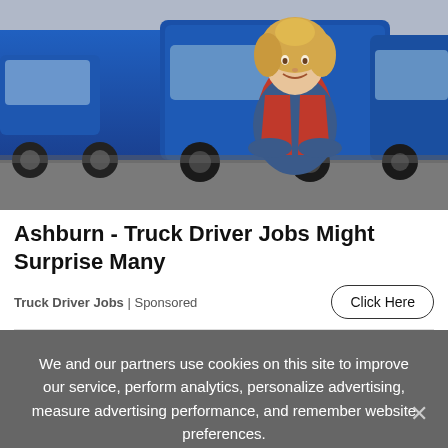[Figure (photo): A woman with curly blonde hair wearing a red vest over a plaid shirt, standing with arms crossed in front of a row of large blue semi-trucks in a parking lot.]
Ashburn - Truck Driver Jobs Might Surprise Many
Truck Driver Jobs | Sponsored
Click Here
We and our partners use cookies on this site to improve our service, perform analytics, personalize advertising, measure advertising performance, and remember website preferences.
Ok